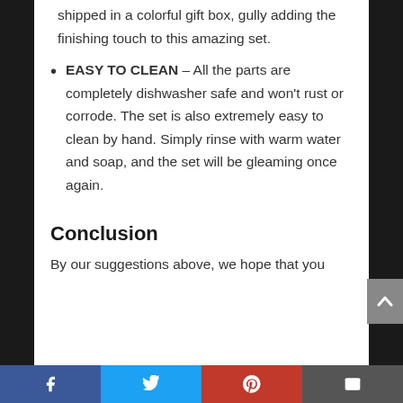shipped in a colorful gift box, gully adding the finishing touch to this amazing set.
EASY TO CLEAN – All the parts are completely dishwasher safe and won't rust or corrode. The set is also extremely easy to clean by hand. Simply rinse with warm water and soap, and the set will be gleaming once again.
Conclusion
By our suggestions above, we hope that you